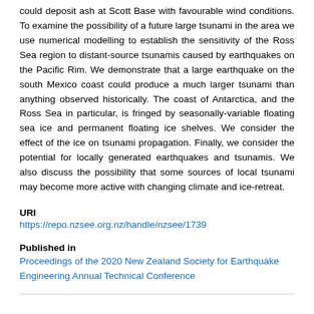could deposit ash at Scott Base with favourable wind conditions. To examine the possibility of a future large tsunami in the area we use numerical modelling to establish the sensitivity of the Ross Sea region to distant-source tsunamis caused by earthquakes on the Pacific Rim. We demonstrate that a large earthquake on the south Mexico coast could produce a much larger tsunami than anything observed historically. The coast of Antarctica, and the Ross Sea in particular, is fringed by seasonally-variable floating sea ice and permanent floating ice shelves. We consider the effect of the ice on tsunami propagation. Finally, we consider the potential for locally generated earthquakes and tsunamis. We also discuss the possibility that some sources of local tsunami may become more active with changing climate and ice-retreat.
URI
https://repo.nzsee.org.nz/handle/nzsee/1739
Published in
Proceedings of the 2020 New Zealand Society for Earthquake Engineering Annual Technical Conference